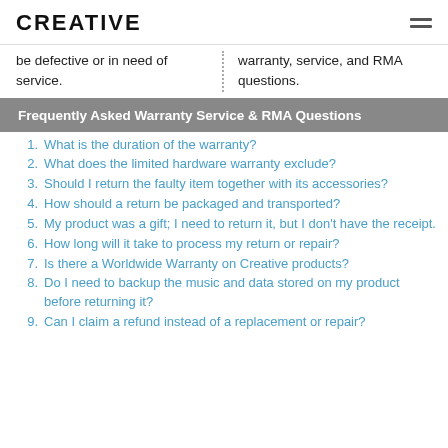CREATIVE
be defective or in need of service.
warranty, service, and RMA questions.
Frequently Asked Warranty Service & RMA Questions
1. What is the duration of the warranty?
2. What does the limited hardware warranty exclude?
3. Should I return the faulty item together with its accessories?
4. How should a return be packaged and transported?
5. My product was a gift; I need to return it, but I don't have the receipt.
6. How long will it take to process my return or repair?
7. Is there a Worldwide Warranty on Creative products?
8. Do I need to backup the music and data stored on my product before returning it?
9. Can I claim a refund instead of a replacement or repair?